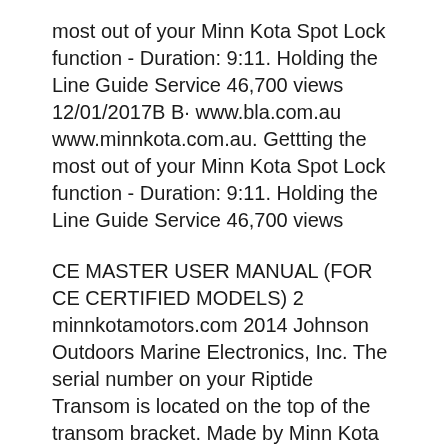most out of your Minn Kota Spot Lock function - Duration: 9:11. Holding the Line Guide Service 46,700 views 12/01/2017B B· www.bla.com.au www.minnkota.com.au. Gettting the most out of your Minn Kota Spot Lock function - Duration: 9:11. Holding the Line Guide Service 46,700 views
CE MASTER USER MANUAL (FOR CE CERTIFIED MODELS) 2 minnkotamotors.com 2014 Johnson Outdoors Marine Electronics, Inc. The serial number on your Riptide Transom is located on the top of the transom bracket. Made by Minn Kota Johnson Outdoors Marine Electronics, Inc. 121 Power Drive Mankato, MN 56001 USA